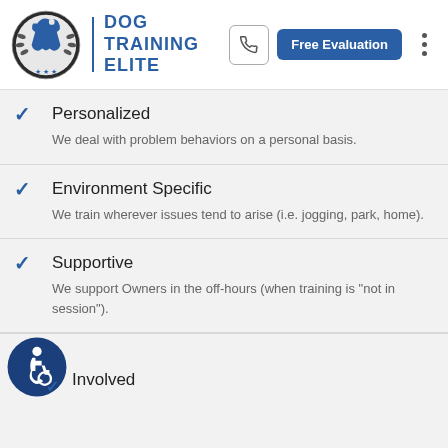[Figure (logo): Dog Training Elite logo with shield emblem and blue text]
Personalized
We deal with problem behaviors on a personal basis.
Environment Specific
We train wherever issues tend to arise (i.e. jogging, park, home).
Supportive
We support Owners in the off-hours (when training is "not in session").
Involved